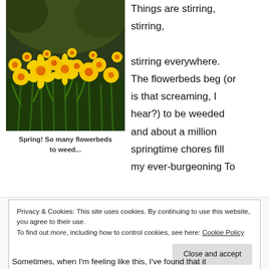[Figure (photo): A field of yellow and orange daffodils in bloom with trees in the background]
Spring! So many flowerbeds to weed...
Things are stirring, stirring, stirring everywhere. The flowerbeds beg (or is that screaming, I hear?) to be weeded and about a million springtime chores fill my ever-burgeoning To Do List.
Privacy & Cookies: This site uses cookies. By continuing to use this website, you agree to their use.
To find out more, including how to control cookies, see here: Cookie Policy
Close and accept
Sometimes, when I'm feeling like this, I've found that it